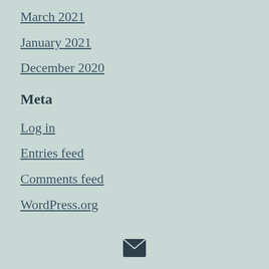March 2021
January 2021
December 2020
Meta
Log in
Entries feed
Comments feed
WordPress.org
[Figure (illustration): Envelope/email icon in dark color at the bottom center of the page]